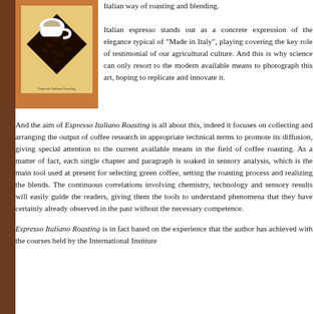[Figure (photo): Book cover for 'Espresso Italiano Roasting' showing a white coffee cup with spilled coffee beans on an orange/tan background with a dark diamond shape]
Italian way of roasting and blending.
Italian espresso stands out as a concrete expre the elegance typical of "Made in Italy", p covering the key role of testimonial of our ag culture. And this is why science can only reso the modern available means to photograph this art, hoping to replic innovate it.
And the aim of Espresso Italiano Roasting is all about this, in focuses on collecting and arranging the output of coffee researc appropriate technical terms to promote its diffusion, giving attention to the current available means in the field of coffee roasti matter of fact, each single chapter and paragraph is soaked in analysis, which is the main tool used at present for selecting green setting the roasting process and realizing the blends. The c correlations involving chemistry, technology and sensory resu easily guide the readers, giving them the tools to understand phe they have certainly already observed in the past without the ne competence.
Espresso Italiano Roasting is in fact based on the experience author has achieved with the courses held by the International In